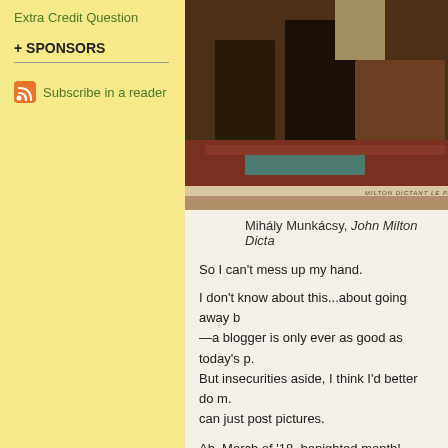Extra Credit Question
+ SPONSORS
Subscribe in a reader
[Figure (photo): Historical painting showing figures in a dark interior room, appears to be a reproduction of Mihály Munkácsy's John Milton Dictating painting]
Mihály Munkácsy, John Milton Dicta...
So I can't mess up my hand.
I don't know about this...about going away b—a blogger is only ever as good as today's p. But insecurities aside, I think I'd better do m. can just post pictures.
Ah, March of '18, benighted month!